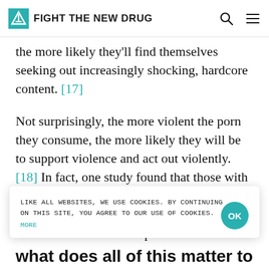FIGHT THE NEW DRUG
the more likely they'll find themselves seeking out increasingly shocking, hardcore content. [17]
Not surprisingly, the more violent the porn they consume, the more likely they will be to support violence and act out violently. [18] In fact, one study found that those with higher exposure to violent porn were six times more likely to have raped someone than those who had low past
LIKE ALL WEBSITES, WE USE COOKIES. BY CONTINUING ON THIS SITE, YOU AGREE TO OUR USE OF COOKIES. MORE
what does all of this matter to